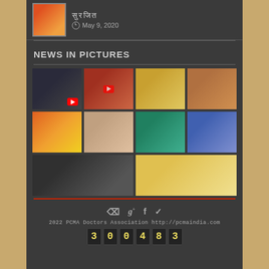[Figure (photo): Thumbnail image of a person with Hindi text and date May 9, 2020]
May 9, 2020
NEWS IN PICTURES
[Figure (photo): Grid of 10 news photos arranged in rows: man in suit with YouTube icon, person in red bending down, group in yellow attire, group with orange garlands, Indian magazine/poster, three people standing, two people exchanging award, students in white uniforms, awards ceremony group, person with garlands and food offerings]
ᵣₛ ᵣₛ ᵣₛ
2022 PCMA Doctors Association http://pcmaindia.com
300483